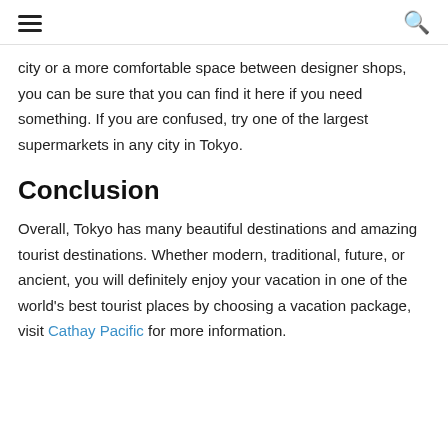≡  🔍
city or a more comfortable space between designer shops, you can be sure that you can find it here if you need something. If you are confused, try one of the largest supermarkets in any city in Tokyo.
Conclusion
Overall, Tokyo has many beautiful destinations and amazing tourist destinations. Whether modern, traditional, future, or ancient, you will definitely enjoy your vacation in one of the world's best tourist places by choosing a vacation package, visit Cathay Pacific for more information.